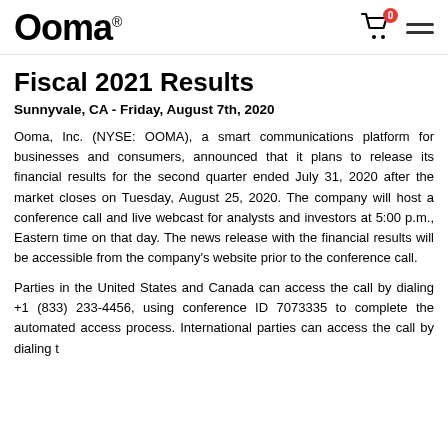Ooma®
Fiscal 2021 Results
Sunnyvale, CA - Friday, August 7th, 2020
Ooma, Inc. (NYSE: OOMA), a smart communications platform for businesses and consumers, announced that it plans to release its financial results for the second quarter ended July 31, 2020 after the market closes on Tuesday, August 25, 2020. The company will host a conference call and live webcast for analysts and investors at 5:00 p.m., Eastern time on that day. The news release with the financial results will be accessible from the company's website prior to the conference call.
Parties in the United States and Canada can access the call by dialing +1 (833) 233-4456, using conference ID 7073335 to complete the automated access process. International parties can access the call by dialing...